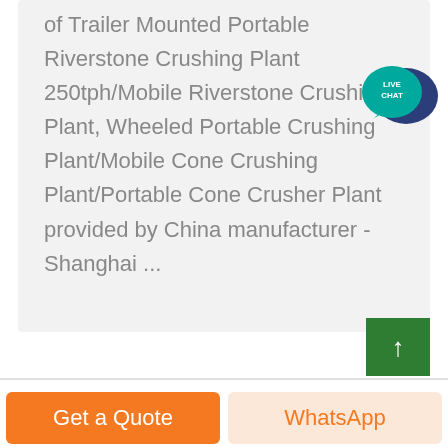of Trailer Mounted Portable Riverstone Crushing Plant 250tph/Mobile Riverstone Crushing Plant, Wheeled Portable Crushing Plant/Mobile Cone Crushing Plant/Portable Cone Crusher Plant provided by China manufacturer - Shanghai ...
[Figure (illustration): Live Chat speech bubble icon in teal/navy blue colors with 'LIVE CHAT' text]
[Figure (illustration): Green scroll-to-top button with white upward arrow]